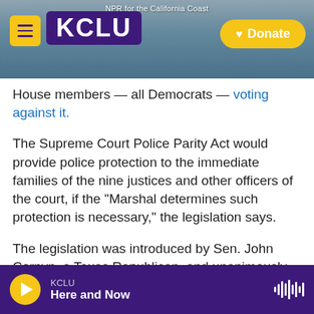NPR for the California Coast — KCLU — Donate
House members — all Democrats — voting against it.
The Supreme Court Police Parity Act would provide police protection to the immediate families of the nine justices and other officers of the court, if the "Marshal determines such protection is necessary," the legislation says.
The legislation was introduced by Sen. John Cornyn, a Texas Republican, and unanimously passed the Senate last month.
"Threats to the physical safety of Supreme Court
KCLU — Here and Now